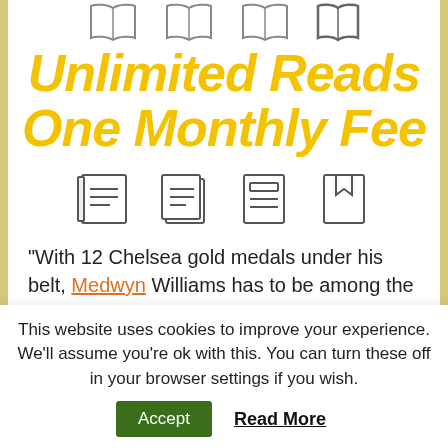[Figure (illustration): Row of four open book icons at the top of the page]
Unlimited Reads One Monthly Fee
[Figure (illustration): Row of four book/document icons: single book, stack of books, document with lines, bookmarked notebook]
“With 12 Chelsea gold medals under his belt, Medwyn Williams has to be among the
This website uses cookies to improve your experience. We'll assume you're ok with this. You can turn these off in your browser settings if you wish.
Accept   Read More